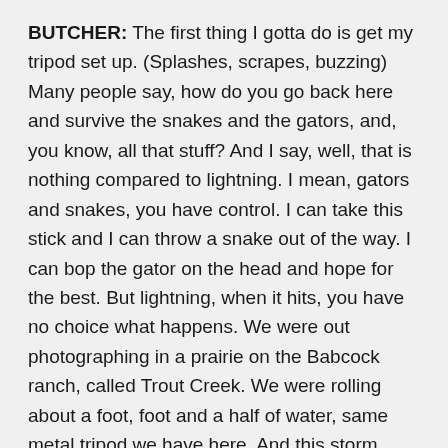BUTCHER: The first thing I gotta do is get my tripod set up. (Splashes, scrapes, buzzing) Many people say, how do you go back here and survive the snakes and the gators, and, you know, all that stuff? And I say, well, that is nothing compared to lightning. I mean, gators and snakes, you have control. I can take this stick and I can throw a snake out of the way. I can bop the gator on the head and hope for the best. But lightning, when it hits, you have no choice what happens. We were out photographing in a prairie on the Babcock ranch, called Trout Creek. We were rolling about a foot, foot and a half of water, same metal tripod we have here. And this storm starts coming across. I mean, the whole ground is shaking, you know, I mean, the thunder and lightning. And all of a sudden our hair is standing up, and lightning is coming out of our fingers. But the unfortunate part